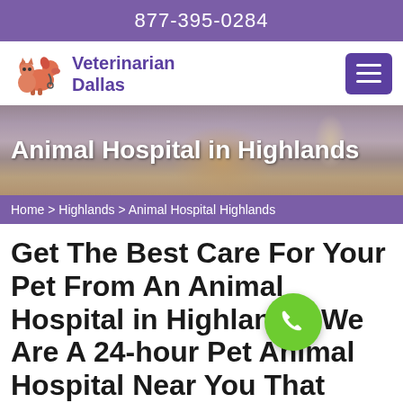877-395-0284
[Figure (logo): Veterinarian Dallas logo with dog and cat silhouette icon in orange/red, text says Veterinarian Dallas in purple]
Animal Hospital in Highlands
Home > Highlands > Animal Hospital Highlands
Get The Best Care For Your Pet From An Animal Hospital in Highlands. We Are A 24-hour Pet Animal Hospital Near You That Provides All Creatures, Pets